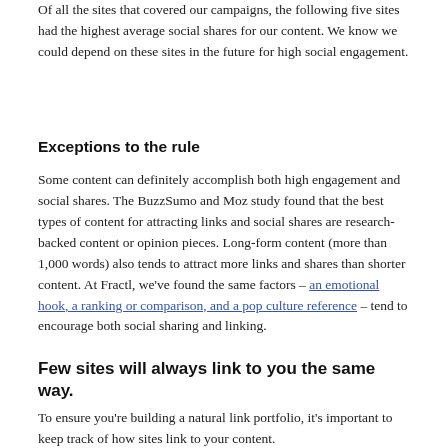Of all the sites that covered our campaigns, the following five sites had the highest average social shares for our content. We know we could depend on these sites in the future for high social engagement.
Exceptions to the rule
Some content can definitely accomplish both high engagement and social shares. The BuzzSumo and Moz study found that the best types of content for attracting links and social shares are research-backed content or opinion pieces. Long-form content (more than 1,000 words) also tends to attract more links and shares than shorter content. At Fractl, we've found the same factors – an emotional hook, a ranking or comparison, and a pop culture reference – tend to encourage both social sharing and linking.
Few sites will always link to you the same way.
To ensure you're building a natural link portfolio, it's important to keep track of how sites link to your content.